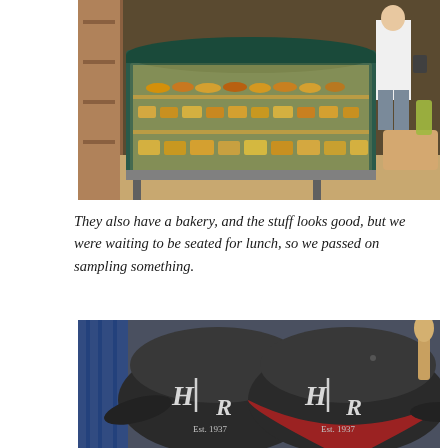[Figure (photo): A glass bakery display case filled with various pastries and baked goods, illuminated from inside with warm yellow lighting. A person in a white shirt stands behind the counter. Wooden shelving visible on the left.]
They also have a bakery, and the stuff looks good, but we were waiting to be seated for lunch, so we passed on sampling something.
[Figure (photo): Two dark/black baseball caps with the embroidered logo 'HR' and text 'Est. 1937' on them, displayed side by side. The right cap has a red band.]